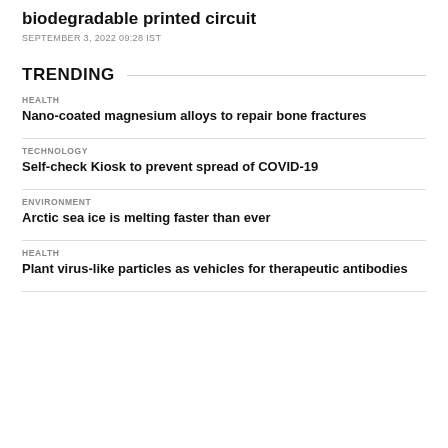biodegradable printed circuit
SEPTEMBER 3, 2022 09:28 IST
TRENDING
HEALTH
Nano-coated magnesium alloys to repair bone fractures
TECHNOLOGY
Self-check Kiosk to prevent spread of COVID-19
ENVIRONMENT
Arctic sea ice is melting faster than ever
HEALTH
Plant virus-like particles as vehicles for therapeutic antibodies